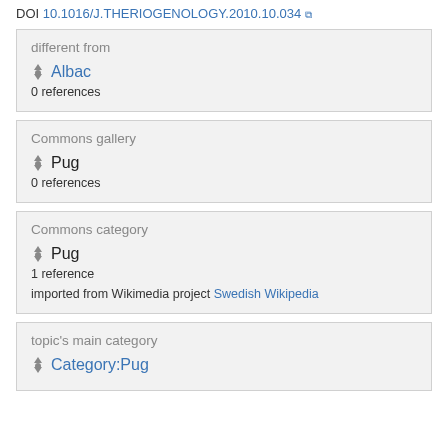DOI 10.1016/J.THERIOGENOLOGY.2010.10.034
different from
Albac
0 references
Commons gallery
Pug
0 references
Commons category
Pug
1 reference
imported from Wikimedia project Swedish Wikipedia
topic's main category
Category:Pug